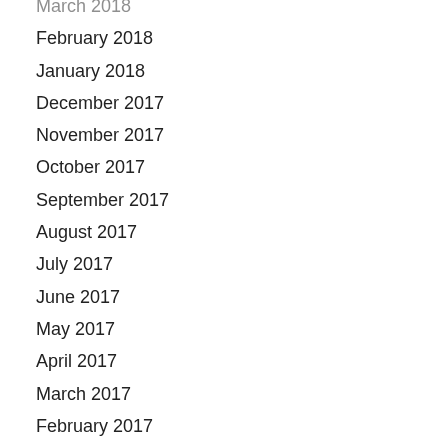March 2018
February 2018
January 2018
December 2017
November 2017
October 2017
September 2017
August 2017
July 2017
June 2017
May 2017
April 2017
March 2017
February 2017
January 2017
December 2016
November 2016
October 2016